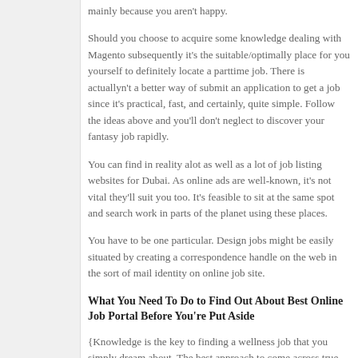mainly because you aren't happy.
Should you choose to acquire some knowledge dealing with Magento subsequently it's the suitable/optimally place for you yourself to definitely locate a parttime job. There is actuallyn't a better way of submit an application to get a job since it's practical, fast, and certainly, quite simple. Follow the ideas above and you'll don't neglect to discover your fantasy job rapidly.
You can find in reality alot as well as a lot of job listing websites for Dubai. As online ads are well-known, it's not vital they'll suit you too. It's feasible to sit at the same spot and search work in parts of the planet using these places.
You have to be one particular. Design jobs might be easily situated by creating a correspondence handle on the web in the sort of mail identity on online job site.
What You Need To Do to Find Out About Best Online Job Portal Before You're Put Aside
{Knowledge is the key to finding a wellness job that you simply dream about. The best approach to come across true dataentry workin Malaysia is via a reliable online